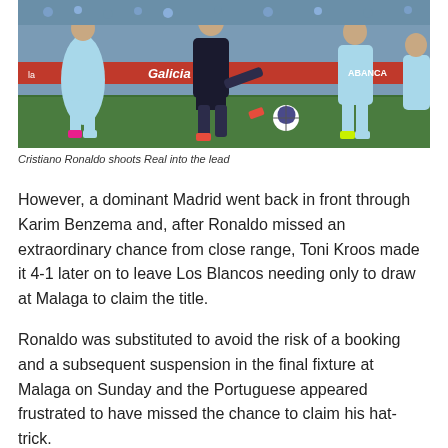[Figure (photo): Football match photo showing Cristiano Ronaldo in dark Real Madrid kit shooting at goal while surrounded by Celta Vigo players in light blue kits on a green pitch. Galicia advertising board visible in the background.]
Cristiano Ronaldo shoots Real into the lead
However, a dominant Madrid went back in front through Karim Benzema and, after Ronaldo missed an extraordinary chance from close range, Toni Kroos made it 4-1 later on to leave Los Blancos needing only to draw at Malaga to claim the title.
Ronaldo was substituted to avoid the risk of a booking and a subsequent suspension in the final fixture at Malaga on Sunday and the Portuguese appeared frustrated to have missed the chance to claim his hat-trick.